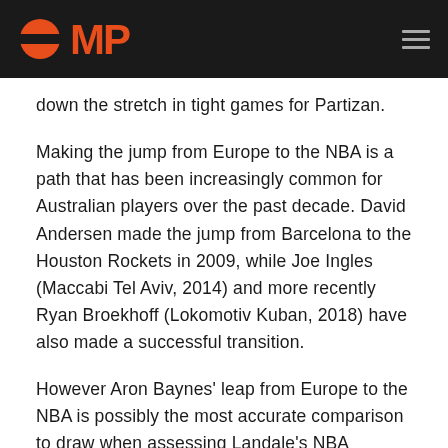OMP [logo]
down the stretch in tight games for Partizan.
Making the jump from Europe to the NBA is a path that has been increasingly common for Australian players over the past decade. David Andersen made the jump from Barcelona to the Houston Rockets in 2009, while Joe Ingles (Maccabi Tel Aviv, 2014) and more recently Ryan Broekhoff (Lokomotiv Kuban, 2018) have also made a successful transition.
However Aron Baynes' leap from Europe to the NBA is possibly the most accurate comparison to draw when assessing Landale's NBA aspirations